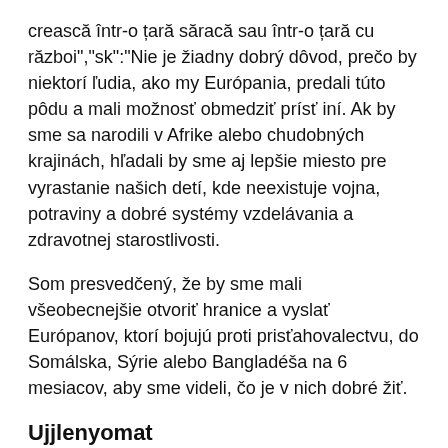crească într-o țară săracă sau într-o țară cu război","sk":"Nie je žiadny dobrý dôvod, prečo by niektorí ľudia, ako my Európania, predali túto pôdu a mali možnosť obmedziť prísť iní. Ak by sme sa narodili v Afrike alebo chudobných krajinách, hľadali by sme aj lepšie miesto pre vyrastanie našich detí, kde neexistuje vojna, potraviny a dobré systémy vzdelávania a zdravotnej starostlivosti.
Som presvedčený, že by sme mali všeobecnejšie otvoriť hranice a vyslať Európanov, ktorí bojujú proti prisťahovalectvu, do Somálska, Sýrie alebo Bangladéša na 6 mesiacov, aby sme videli, čo je v nich dobré žiť.
Ujjlenyomat
Nikto sa nerozhodol vyrastať v chudobnej krajine alebo v krajine s vojnou","sl":"Danes ni nobenega